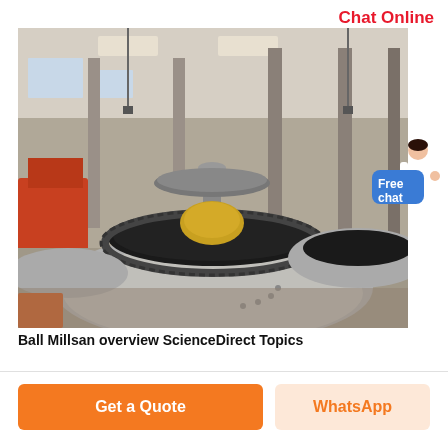Chat Online
[Figure (photo): Industrial factory floor showing large ball mill equipment with gear mechanisms, circular drum tops visible, overhead cranes, concrete columns, and red machinery in the background.]
Ball Millsan overview ScienceDirect Topics
Get a Quote
WhatsApp